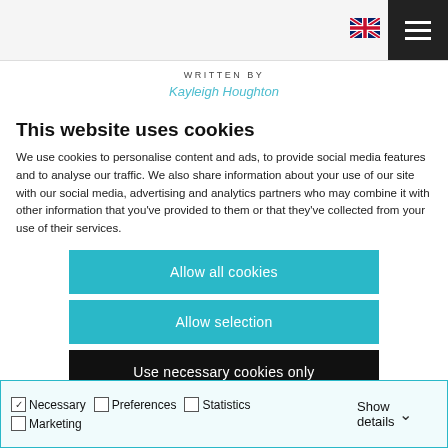[Figure (screenshot): Website header with UK flag icon and hamburger menu on dark background]
WRITTEN BY
Kayleigh Houghton
This website uses cookies
We use cookies to personalise content and ads, to provide social media features and to analyse our traffic. We also share information about your use of our site with our social media, advertising and analytics partners who may combine it with other information that you've provided to them or that they've collected from your use of their services.
Allow all cookies
Allow selection
Use necessary cookies only
| ☑ Necessary | ☐ Preferences | ☐ Statistics | Show details ∨ |
| ☐ Marketing |  |  |  |